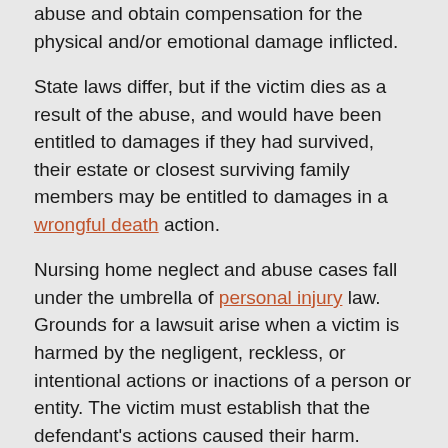abuse and obtain compensation for the physical and/or emotional damage inflicted.
State laws differ, but if the victim dies as a result of the abuse, and would have been entitled to damages if they had survived, their estate or closest surviving family members may be entitled to damages in a wrongful death action.
Nursing home neglect and abuse cases fall under the umbrella of personal injury law. Grounds for a lawsuit arise when a victim is harmed by the negligent, reckless, or intentional actions or inactions of a person or entity. The victim must establish that the defendant's actions caused their harm.